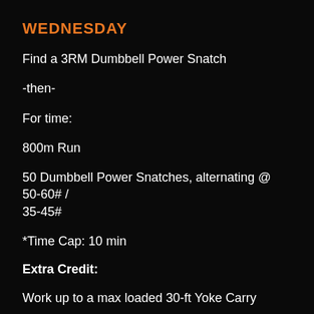WEDNESDAY
Find a 3RM Dumbbell Power Snatch
-then-
For time:
800m Run
50 Dumbbell Power Snatches, alternating @ 50-60# / 35-45#
*Time Cap: 10 min
Extra Credit:
Work up to a max loaded 30-ft Yoke Carry